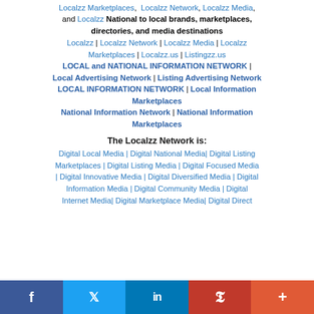Localzz Marketplaces, Localzz Network, Localzz Media, and Localzz National to local brands, marketplaces, directories, and media destinations
Localzz | Localzz Network | Localzz Media | Localzz Marketplaces | Localzz.us | Listingzz.us
LOCAL and NATIONAL INFORMATION NETWORK | Local Advertising Network | Listing Advertising Network LOCAL INFORMATION NETWORK | Local Information Marketplaces
National Information Network | National Information Marketplaces
The Localzz Network is:
Digital Local Media | Digital National Media| Digital Listing Marketplaces | Digital Listing Media | Digital Focused Media | Digital Innovative Media | Digital Diversified Media | Digital Information Media | Digital Community Media | Digital Internet Media| Digital Marketplace Media| Digital Directo...
f  t  in  P  +